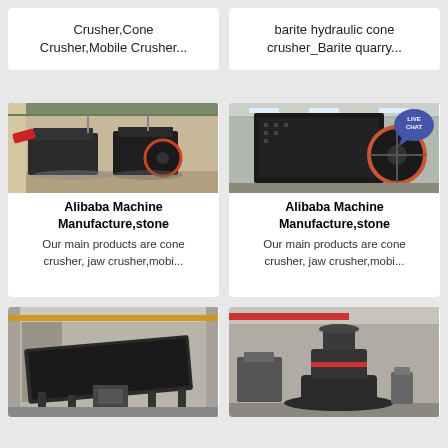Crusher,Cone Crusher,Mobile Crusher...
barite hydraulic cone crusher_Barite quarry...
[Figure (photo): Industrial impact crusher machines in a factory warehouse]
[Figure (photo): Large industrial crushing machine with circular flywheel, with Live Chat bubble overlay]
Alibaba Machine Manufacture,stone
Our main products are cone crusher, jaw crusher,mobi...
Alibaba Machine Manufacture,stone
Our main products are cone crusher, jaw crusher,mobi...
[Figure (photo): Heavy-duty vibrating screen or feeder machine in industrial warehouse]
[Figure (photo): Cone crusher machine standing in large industrial building]